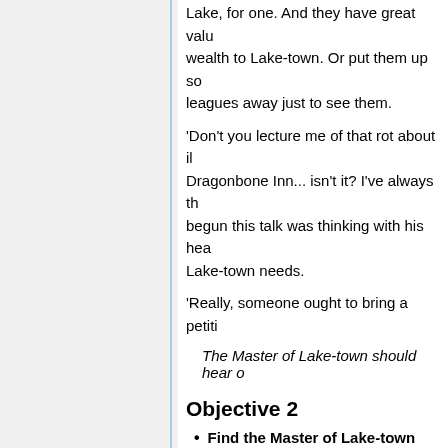Lake, for one. And they have great value wealth to Lake-town. Or put them up so leagues away just to see them.
'Don't you lecture me of that rot about i Dragonbone Inn... isn't it? I've always th begun this talk was thinking with his he Lake-town needs.
'Really, someone ought to bring a petiti
The Master of Lake-town should hear o
Objective 2
Find the Master of Lake-town
Find the Master of Lake-town.
The Master's Manor stands before you
Objective 3
Complete 'The Master's Murder' ques
You should assist the Men of Lake-town.